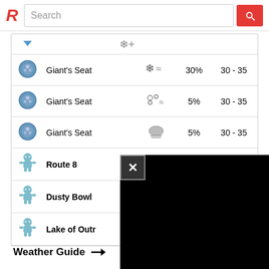[Figure (screenshot): Roggle/wiki app top bar with red R logo and search field]
| Icon | Location | Weather | % | Range |
| --- | --- | --- | --- | --- |
| [shield icon] | Giant's Seat | [snow+wind] | 30% | 30 - 35 |
| [shield icon] | Giant's Seat | [fog+wind] | 5% | 30 - 35 |
| [shield icon] | Giant's Seat | [overcast] | 5% | 30 - 35 |
| [machop icon] | Route 8 | All |  |  |
| [machop icon] | Dusty Bowl |  |  |  |
| [machop icon] | Lake of Outr... |  |  |  |
Weather Guide →